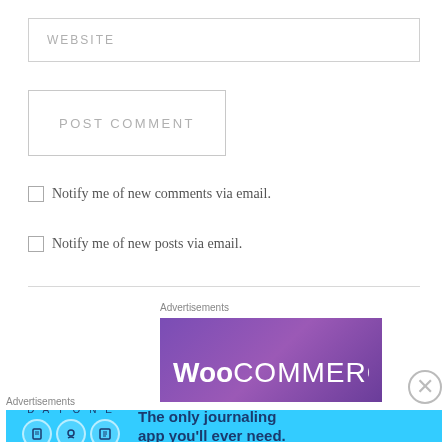WEBSITE
POST COMMENT
Notify me of new comments via email.
Notify me of new posts via email.
Advertisements
[Figure (logo): WooCommerce logo on purple background]
Advertisements
[Figure (illustration): Day One journaling app advertisement with cyan background showing app icons and text: The only journaling app you'll ever need.]